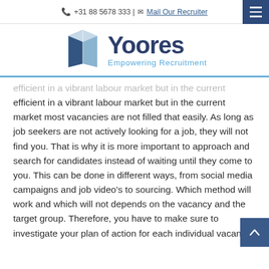☎ +31 88 5678 333 | ✉ Mail Our Recruiter
[Figure (logo): Yoores Empowering Recruitment logo with a 3D folded document icon in blue and grey tones, company name 'Yoores' in dark navy, tagline 'Empowering Recruitment' in light blue]
efficient in a vibrant labour market but in the current market most vacancies are not filled that easily. As long as job seekers are not actively looking for a job, they will not find you. That is why it is more important to approach and search for candidates instead of waiting until they come to you. This can be done in different ways, from social media campaigns and job video's to sourcing. Which method will work and which will not depends on the vacancy and the target group. Therefore, you have to make sure to investigate your plan of action for each individual vacancy.